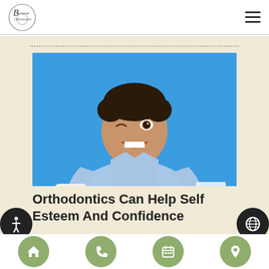Brookside Orthodontics
[Figure (photo): Young man smiling widely, holding a dental model with braces in one hand and a clear aligner in the other hand, against a blue background, wearing a light blue denim shirt]
Orthodontics Can Help Self Esteem And Confidence
Navigation icons: home, phone, calendar, location